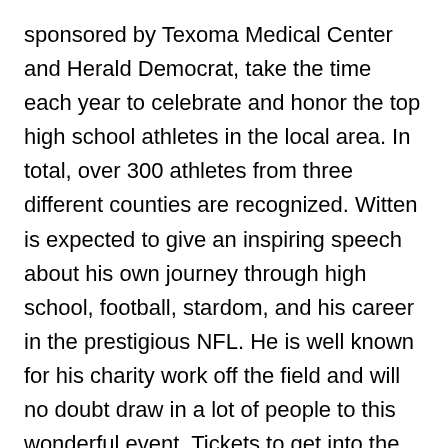sponsored by Texoma Medical Center and Herald Democrat, take the time each year to celebrate and honor the top high school athletes in the local area. In total, over 300 athletes from three different counties are recognized. Witten is expected to give an inspiring speech about his own journey through high school, football, stardom, and his career in the prestigious NFL. He is well known for his charity work off the field and will no doubt draw in a lot of people to this wonderful event. Tickets to get into the event are $50 a piece and include dinner, awards ceremony and the talk by Jason Witten.
The ten-time Pro Bowl player has been playing on the team since 2003, and they are the only franchise that he has ever been with. Witten has won numerous awards including the Home Depot NFL Neighborhood MVP and Walter Payton Man of the Year Award in 2012, and the NFL Alumni Tight End of the Year Award three times in years 2007, 2008 and 2012. In addition, that